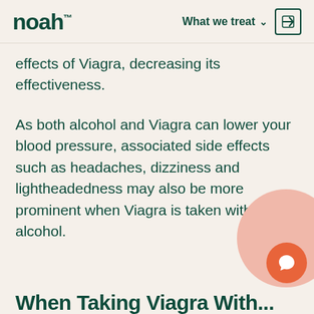noah™  What we treat
effects of Viagra, decreasing its effectiveness.
As both alcohol and Viagra can lower your blood pressure, associated side effects such as headaches, dizziness and lightheadedness may also be more prominent when Viagra is taken with alcohol.
When Taking Viagra With...